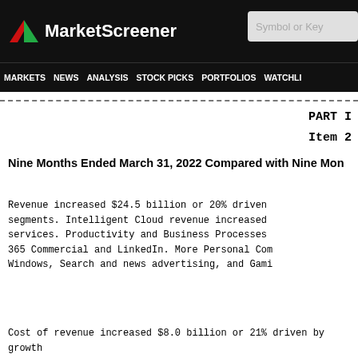MarketScreener — Symbol or Key
MARKETS NEWS ANALYSIS STOCK PICKS PORTFOLIOS WATCHLI
PART I
Item 2
Nine Months Ended March 31, 2022 Compared with Nine Mon
Revenue increased $24.5 billion or 20% driven segments. Intelligent Cloud revenue increased services. Productivity and Business Processes 365 Commercial and LinkedIn. More Personal Com Windows, Search and news advertising, and Gami
Cost of revenue increased $8.0 billion or 21% driven by growth